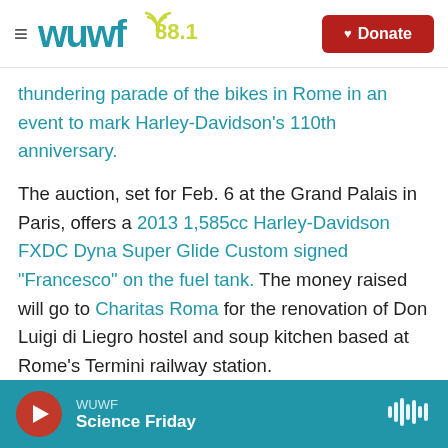WUWF 88.1 | Donate
thundering parade of the bikes in Rome in an event to mark Harley-Davidson's 110th anniversary.
The auction, set for Feb. 6 at the Grand Palais in Paris, offers a 2013 1,585cc Harley-Davidson FXDC Dyna Super Glide Custom signed "Francesco" on the fuel tank. The money raised will go to Charitas Roma for the renovation of Don Luigi di Liegro hostel and soup kitchen based at Rome's Termini railway station.
It's unclear whether the pontiff ever rode the motorcycle, which sans the pope's signature is
WUWF | Science Friday